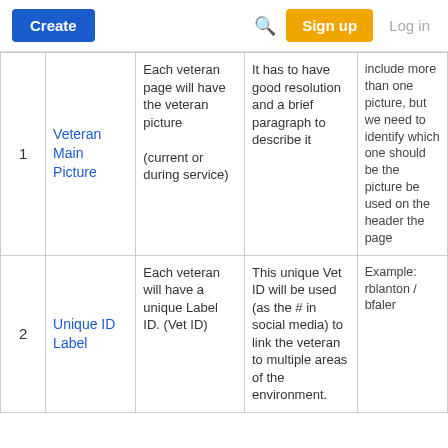Create | Search | Sign up | Log in
| # | Name | Description | Requirements | Notes |
| --- | --- | --- | --- | --- |
| 1 | Veteran Main Picture | Each veteran page will have the veteran picture

(current or during service) | It has to have good resolution and a brief paragraph to describe it | include more than one picture, but we need to identify which one should be the picture be used on the header the page |
| 2 | Unique ID Label | Each veteran will have a unique Label ID. (Vet ID) | This unique Vet ID will be used (as the # in social media) to link the veteran to multiple areas of the environment. | Example: rblanton / bfaler |